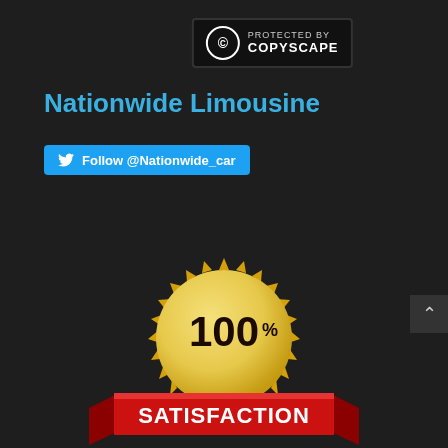[Figure (logo): Copyscape copyright protection badge: circular C symbol and text 'PROTECTED BY COPYSCAPE' on dark background]
Nationwide Limousine
[Figure (screenshot): Twitter follow button: blue rounded rectangle with Twitter bird icon and text 'Follow @Nationwide_car']
[Figure (illustration): 100% Satisfaction gold seal badge with red ribbon banner showing 'SATISFACTION' text at bottom of page]